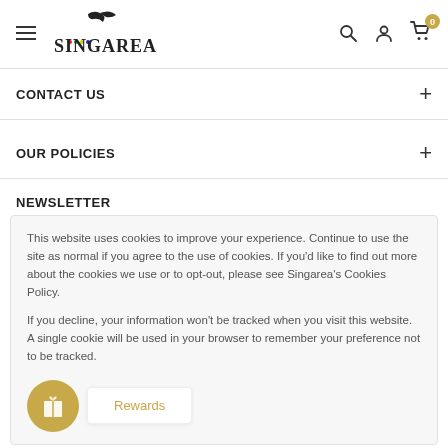Singarea — navigation bar with hamburger menu, logo, search, account, and cart (0 items)
CONTACT US
OUR POLICIES
NEWSLETTER
This website uses cookies to improve your experience. Continue to use the site as normal if you agree to the use of cookies. If you'd like to find out more about the cookies we use or to opt-out, please see Singarea's Cookies Policy.
If you decline, your information won't be tracked when you visit this website. A single cookie will be used in your browser to remember your preference not to be tracked.
Rewards